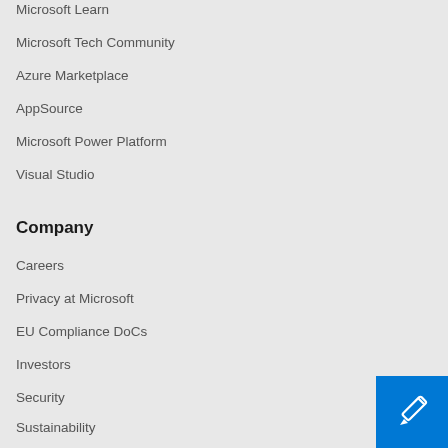Microsoft Learn
Microsoft Tech Community
Azure Marketplace
AppSource
Microsoft Power Platform
Visual Studio
Company
Careers
Privacy at Microsoft
EU Compliance DoCs
Investors
Security
Sustainability
[Figure (illustration): Blue square button with white pencil/edit icon]